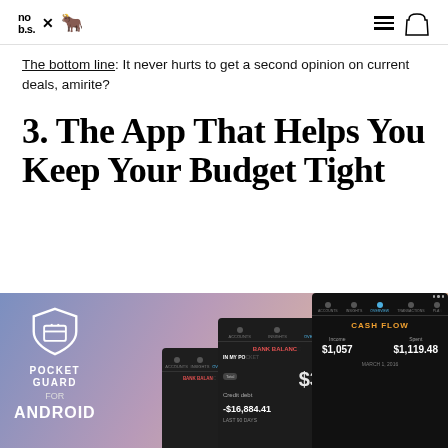no b.s. × [bull icon] — hamburger menu, bag icon
The bottom line: It never hurts to get a second opinion on current deals, amirite?
3. The App That Helps You Keep Your Budget Tight
[Figure (screenshot): PocketGuard app screenshot showing multiple phone screens: PocketGuard for Android logo/shield on left, middle screen showing BANK BALANCE with IN MY POCKET panel displaying $31, rightmost screen showing CASH FLOW with Income $1,057 and Spent $1,119.48, dated MARCH 1, 2016. Credit debt -$16,884.41 visible.]